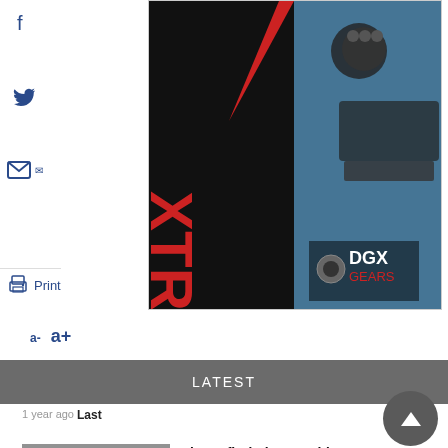[Figure (photo): DGX Gears advertisement banner with red/black XTRA PERFORMANCE text and mechanical parts photo]
a-  a+
LATEST
1 year ago
Last
[Figure (photo): Black and white historical photo of a WWI US Navy ship at sea]
Divers find First World War US shipwreck off Cornwall
17 Aug, 2022 - 14:46
[Figure (photo): Underwater photo of kelp forest with green light filtering through]
Bringing kelp forests back to life